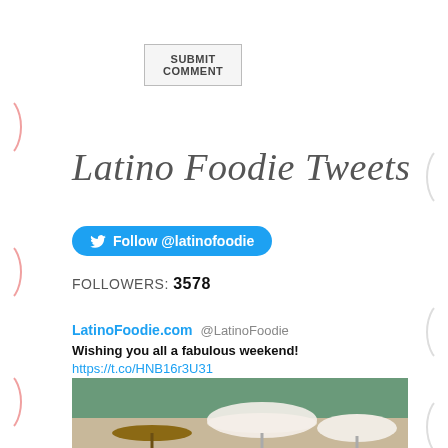SUBMIT COMMENT
Latino Foodie Tweets
Follow @latinofoodie
FOLLOWERS: 3578
LatinoFoodie.com @LatinoFoodie
Wishing you all a fabulous weekend! https://t.co/HNB16r3U31
[Figure (photo): Outdoor photo at a beach/pool resort area showing two people close together in foreground with beach umbrellas and tropical vegetation in background]